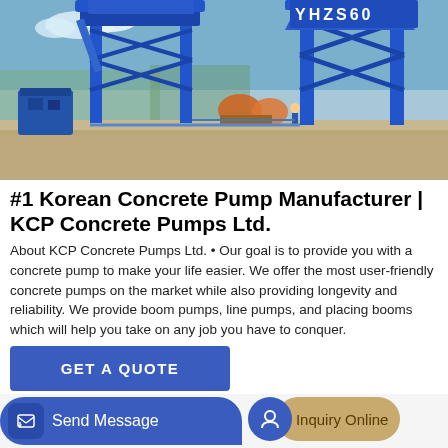[Figure (photo): Blue concrete batching plant/concrete pumping equipment labeled YHZS60, photographed outdoors at a construction site with gravel ground and trees in background]
#1 Korean Concrete Pump Manufacturer | KCP Concrete Pumps Ltd.
About KCP Concrete Pumps Ltd. • Our goal is to provide you with a concrete pump to make your life easier. We offer the most user-friendly concrete pumps on the market while also providing longevity and reliability. We provide boom pumps, line pumps, and placing booms which will help you take on any job you have to conquer.
GET A QUOTE
Send Message
Inquiry Online